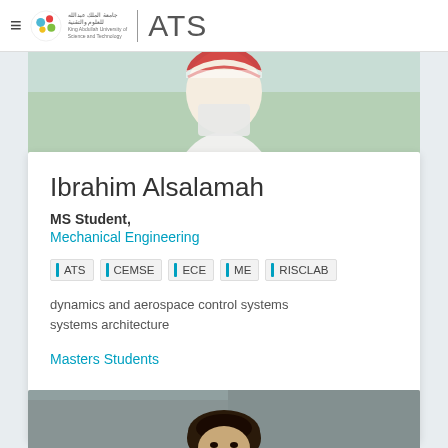ATS
[Figure (photo): Upper portion of a person wearing traditional Arab dress (white thobe and red-white keffiyeh) with green trees in background]
Ibrahim Alsalamah
MS Student,
Mechanical Engineering
ATS | CEMSE | ECE | ME | RISCLAB
dynamics and aerospace control systems
systems architecture
Masters Students
[Figure (photo): Bottom portion showing head of a person with curly dark hair in an indoor setting]